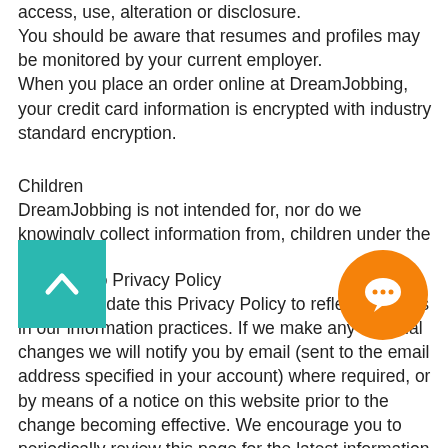access, use, alteration or disclosure. You should be aware that resumes and profiles may be monitored by your current employer. When you place an order online at DreamJobbing, your credit card information is encrypted with industry standard encryption.
Children
DreamJobbing is not intended for, nor do we knowingly collect information from, children under the age of 13.
Changes to Privacy Policy
We may update this Privacy Policy to reflect changes in our information practices. If we make any material changes we will notify you by email (sent to the email address specified in your account) where required, or by means of a notice on this website prior to the change becoming effective. We encourage you to periodically review this page for the latest information on our practices.
t Information
Your data is submitted to DreamJobbing